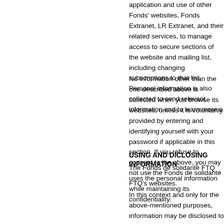application and use of other Fonds' websites, Fonds Extranet, LR Extranet, and their related services, to manage access to secure sections of the website and mailing list, including changing subscriptions to that list. Personal information is also collected to send relevant information and to learn more a
No information other than the one described above is collected when you browse its websites, unless it is voluntarily provided by entering and identifying yourself with your password if applicable in this section. If you refuse to consent to the above, you may not use the Fonds de solidarité FTQ's websites.
USING AND DICLOSING INFORMATION
The Fonds de solidarité FTQ uses the personal information while maintaining its confidentiality.
In this context and only for the above-mentioned purposes, information may be disclosed to third parties who receive from the Fonds mandates or contracts to the extent required for such purposes. Such third parties could include the Fonds de solidarité FTQ's employees, its service suppliers, includ